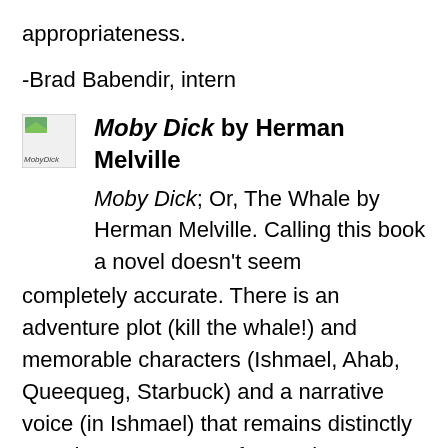appropriateness.
-Brad Babendir, intern
[Figure (photo): Book cover thumbnail for Moby Dick with alt text 'MobyDick']
Moby Dick by Herman Melville
Moby Dick; Or, The Whale by Herman Melville. Calling this book a novel doesn't seem completely accurate. There is an adventure plot (kill the whale!) and memorable characters (Ishmael, Ahab, Queequeg, Starbuck) and a narrative voice (in Ishmael) that remains distinctly American. It's easy to forget about Melville's breathtaking prose, and the precise and insightful observations about whaling and American industry. The large sections that have